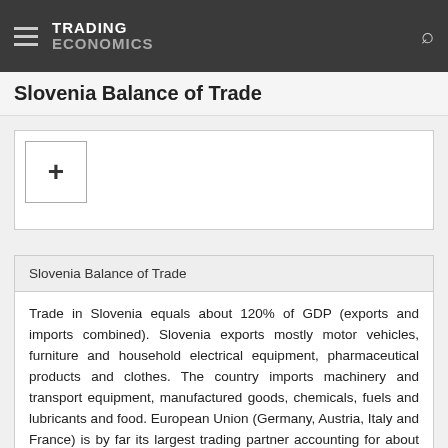TRADING ECONOMICS
Slovenia Balance of Trade
[Figure (other): Chart placeholder with a + (expand) button in the top-left corner, white background, bordered box.]
Slovenia Balance of Trade
Trade in Slovenia equals about 120% of GDP (exports and imports combined). Slovenia exports mostly motor vehicles, furniture and household electrical equipment, pharmaceutical products and clothes. The country imports machinery and transport equipment, manufactured goods, chemicals, fuels and lubricants and food. European Union (Germany, Austria, Italy and France) is by far its largest trading partner accounting for about 71% of exports and 79% of imports.